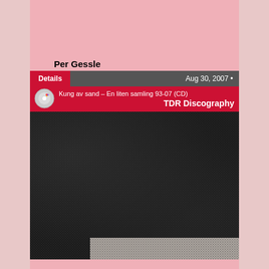Per Gessle
Details | Aug 30, 2007
Kung av sand – En liten samling 93-07 (CD)
TDR Discography
[Figure (photo): Black and white photo of Per Gessle, holding his hand up with text written on palm reading 'En Handig Man', with 'PER GESSLE' written in white text across the image. Album cover art.]